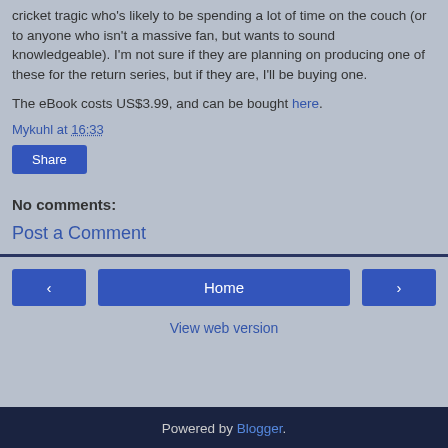cricket tragic who's likely to be spending a lot of time on the couch (or to anyone who isn't a massive fan, but wants to sound knowledgeable). I'm not sure if they are planning on producing one of these for the return series, but if they are, I'll be buying one.
The eBook costs US$3.99, and can be bought here.
Mykuhl at 16:33
Share
No comments:
Post a Comment
Home
View web version
Powered by Blogger.